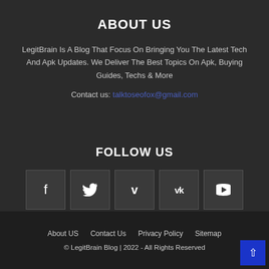ABOUT US
LegitBrain Is A Blog That Focus On Bringing You The Latest Tech And Apk Updates. We Deliver The Best Topics On Apk, Buying Guides, Techs & More
Contact us: talktoseofox@gmail.com
FOLLOW US
[Figure (infographic): Row of 5 social media icon buttons: Facebook (f), Twitter (bird), Vimeo (v), VK (vk), YouTube (play button)]
About US   Contact Us   Privacy Policy   Sitemap
© LegitBrain Blog | 2022 - All Rights Reserved